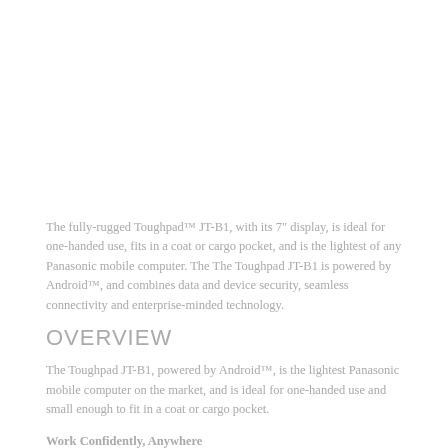The fully-rugged Toughpad™ JT-B1, with its 7" display, is ideal for one-handed use, fits in a coat or cargo pocket, and is the lightest of any Panasonic mobile computer. The The Toughpad JT-B1 is powered by Android™, and combines data and device security, seamless connectivity and enterprise-minded technology.
OVERVIEW
The Toughpad JT-B1, powered by Android™, is the lightest Panasonic mobile computer on the market, and is ideal for one-handed use and small enough to fit in a coat or cargo pocket.
Work Confidently, Anywhere